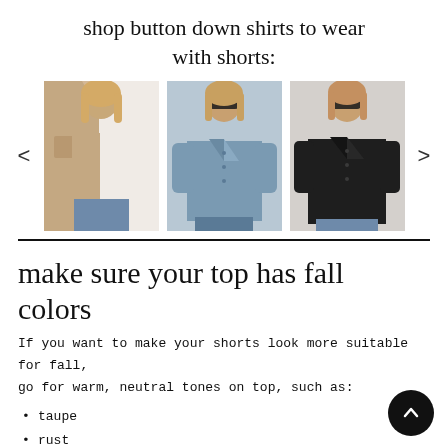shop button down shirts to wear with shorts:
[Figure (photo): Carousel of three button-down shirt product photos: (1) woman in tan/white colorblock short-sleeve button-down with a patch pocket, (2) woman in denim blue long-sleeve button-down shirt, (3) woman in black long-sleeve button-down shirt. Left and right navigation arrows visible.]
make sure your top has fall colors
If you want to make your shorts look more suitable for fall, go for warm, neutral tones on top, such as:
taupe
rust